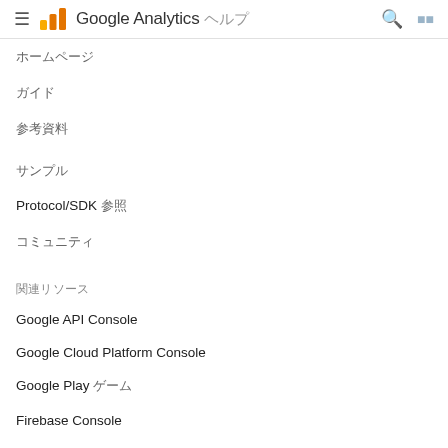Google Analytics ヘルプ
ホームページ
ガイド
参考資料
サンプル
Protocol/SDK 参照
コミュニティ
関連リソース
Google API Console
Google Cloud Platform Console
Google Play ゲーム
Firebase Console
Adwords Google Console